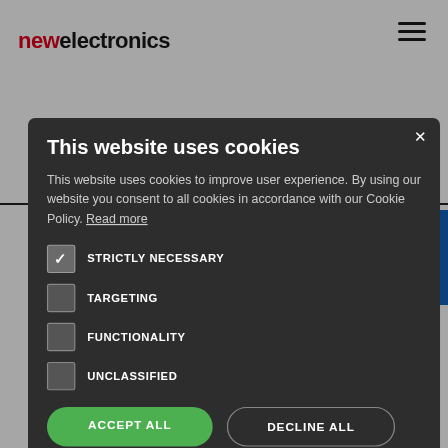new electronics
[Figure (screenshot): Cookie consent modal overlay on newelectronics.co.uk website. Modal on dark background with title 'This website uses cookies', body text about cookie policy, checkboxes for STRICTLY NECESSARY (checked), TARGETING, FUNCTIONALITY, UNCLASSIFIED, and buttons ACCEPT ALL (green) and DECLINE ALL (outline), plus SHOW DETAILS link.]
This website uses cookies
This website uses cookies to improve user experience. By using our website you consent to all cookies in accordance with our Cookie Policy. Read more
STRICTLY NECESSARY (checked)
TARGETING
FUNCTIONALITY
UNCLASSIFIED